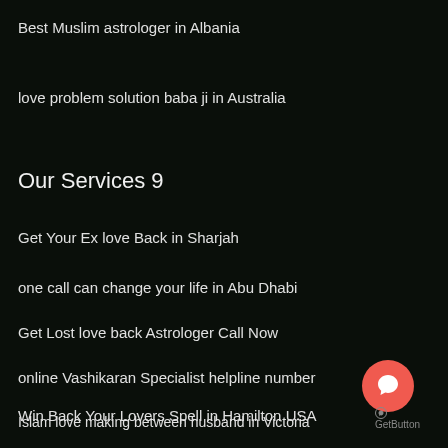Best Muslim astrologer in Albania
love problem solution baba ji in Australia
Our Services 9
Get Your Ex love Back in Sharjah
one call can change your life in Abu Dhabi
Get Lost love back Astrologer Call Now
online Vashikaran Specialist helpline number
Win Back Your Lovers Spell in Hamilton USA
Islam love making between husband in Victoria
[Figure (illustration): Red circular chat button (GetButton widget) with speech bubble icon, and 'GetButton' label below]